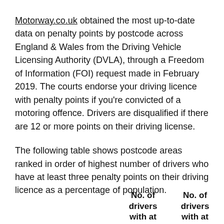Motorway.co.uk obtained the most up-to-date data on penalty points by postcode across England & Wales from the Driving Vehicle Licensing Authority (DVLA), through a Freedom of Information (FOI) request made in February 2019. The courts endorse your driving licence with penalty points if you're convicted of a motoring offence. Drivers are disqualified if there are 12 or more points on their driving license.
The following table shows postcode areas ranked in order of highest number of drivers who have at least three penalty points on their driving licence as a percentage of population.
| No. of drivers with at... | No. of drivers with at... |
| --- | --- |